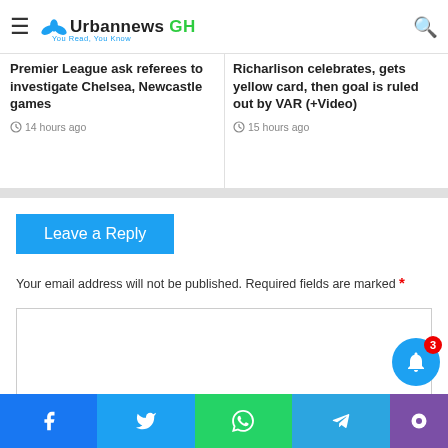Urbannews GH – You Read, You Know
Premier League ask referees to investigate Chelsea, Newcastle games – 14 hours ago
Richarlison celebrates, gets yellow card, then goal is ruled out by VAR (+Video) – 15 hours ago
Leave a Reply
Your email address will not be published. Required fields are marked *
[Comment text box]
Facebook | Twitter | WhatsApp | Telegram | (more)